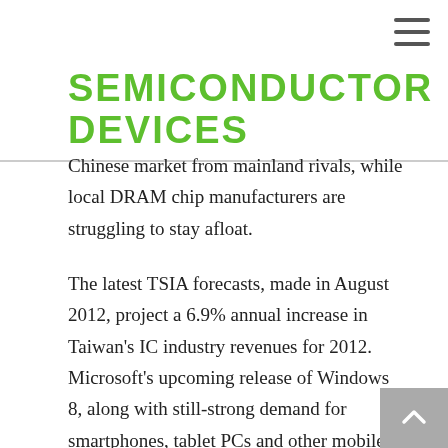SEMICONDUCTOR DEVICES
Chinese market from mainland rivals, while local DRAM chip manufacturers are struggling to stay afloat.
The latest TSIA forecasts, made in August 2012, project a 6.9% annual increase in Taiwan’s IC industry revenues for 2012. Microsoft’s upcoming release of Windows 8, along with still-strong demand for smartphones, tablet PCs and other mobile devices, will help drive industry growth this year. Offsetting some of these positives is the continued weakness in the global economy, which could potentially dampen demand for IC chips through to the year-end and into 2013. Still, semiconductor capital investment is projected to